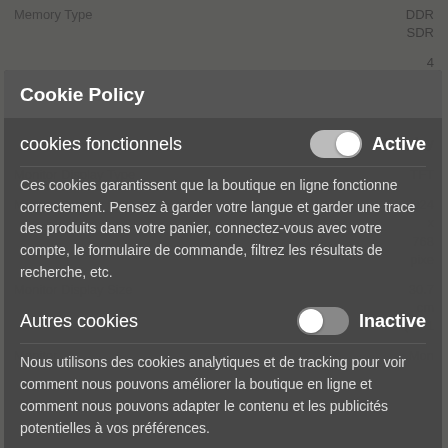| Attribute | Value |
| --- | --- |
| Memory Type | DDR SDR |
| Memory Capacity | 4 GB |
| Internal Flash |  |
| Display |  |
| Monitor Display Type | TFT |
| Monitor Display Max. Resolution | 1024 x 768 pixe |
| Monitor Display Size | 30.7 cm (12.1 |
| Monitor | Mon |
Cookie Policy
cookies fonctionnels
Active
Ces cookies garantissent que la boutique en ligne fonctionne correctement. Pensez à garder votre langue et garder une trace des produits dans votre panier, connectez-vous avec votre compte, le formulaire de commande, filtrez les résultats de recherche, etc.
Autres cookies
Inactive
Nous utilisons des cookies analytiques et de tracking pour voir comment nous pouvons améliorer la boutique en ligne et comment nous pouvons adapter le contenu et les publicités potentielles à vos préférences.
Enregistrer les préférences